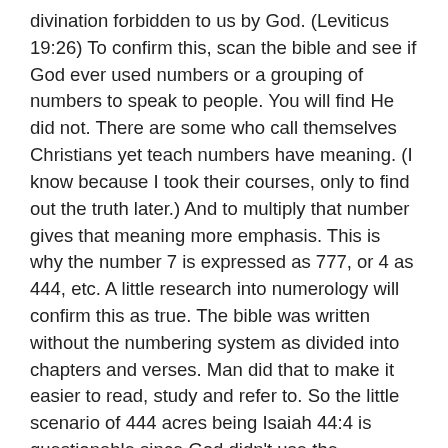divination forbidden to us by God. (Leviticus 19:26) To confirm this, scan the bible and see if God ever used numbers or a grouping of numbers to speak to people. You will find He did not. There are some who call themselves Christians yet teach numbers have meaning. (I know because I took their courses, only to find out the truth later.) And to multiply that number gives that meaning more emphasis. This is why the number 7 is expressed as 777, or 4 as 444, etc. A little research into numerology will confirm this as true. The bible was written without the numbering system as divided into chapters and verses. Man did that to make it easier to read, study and refer to. So the little scenario of 444 acres being Isaiah 44:4 is questionable since God didn't use the numbering system anyway!!